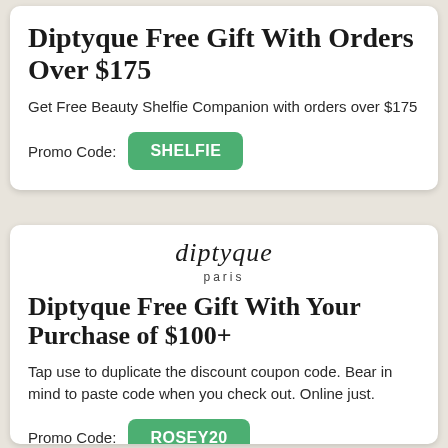Diptyque Free Gift With Orders Over $175
Get Free Beauty Shelfie Companion with orders over $175
Promo Code: SHELFIE
[Figure (logo): Diptyque Paris logo in italic serif font]
Diptyque Free Gift With Your Purchase of $100+
Tap use to duplicate the discount coupon code. Bear in mind to paste code when you check out. Online just.
Promo Code: ROSEY20